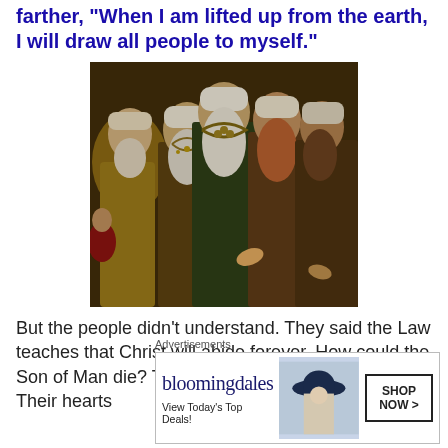farther, 'When I am lifted up from the earth, I will draw all people to myself.'
[Figure (illustration): Painting depicting a group of elderly bearded men in traditional ancient Middle Eastern robes and head coverings, rendered in rich earth tones of gold, green, and brown.]
But the people didn't understand. They said the Law teaches that Christ will abide forever. How could the Son of Man die? Their eyes were blind to Jesus. Their hearts
Advertisements
[Figure (other): Bloomingdale's advertisement banner: 'View Today's Top Deals!' with SHOP NOW > button]